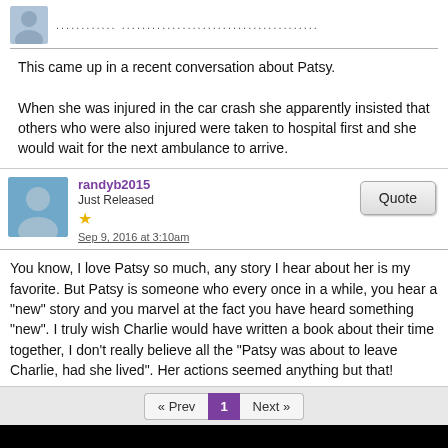This came up in a recent conversation about Patsy.
When she was injured in the car crash she apparently insisted that others who were also injured were taken to hospital first and she would wait for the next ambulance to arrive.
randyb2015
Just Released
Sep 9, 2016 at 3:10am
You know, I love Patsy so much, any story I hear about her is my favorite. But Patsy is someone who every once in a while, you hear a "new" story and you marvel at the fact you have heard something "new". I truly wish Charlie would have written a book about their time together, I don't really believe all the "Patsy was about to leave Charlie, had she lived". Her actions seemed anything but that!
« Prev  1  Next »